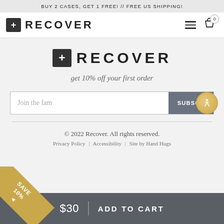BUY 2 CASES, GET 1 FREE! // FREE US SHIPPING!
[Figure (logo): Recover brand logo with plus sign icon and 'RECOVER' text in navigation bar]
get 10% off your first order
Join the fam  SUBSCRIBE
© 2022 Recover. All rights reserved.
Privacy Policy | Accessibility | Site by Hand Hugs
$30  ADD TO CART